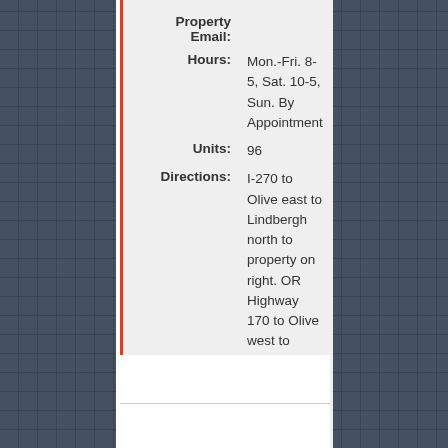| Property Email: |  |
| Hours: | Mon.-Fri. 8-5, Sat. 10-5, Sun. By Appointment |
| Units: | 96 |
| Directions: | I-270 to Olive east to Lindbergh north to property on right. OR Highway 170 to Olive west to Lindbergh north past Midland to property on the right. LEASING OFFICE FOR RIDGE POINT CROSSING WEST IS LOCATED AT RIDGE POINT CROSSING. |